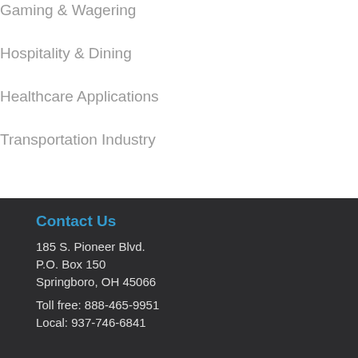Gaming & Wagering
Hospitality & Dining
Healthcare Applications
Transportation Industry
Contact Us
185 S. Pioneer Blvd.
P.O. Box 150
Springboro, OH 45066
Toll free: 888-465-9951
Local: 937-746-6841